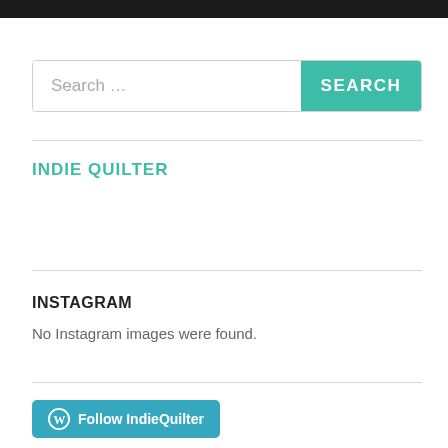Search ...
SEARCH
INDIE QUILTER
INSTAGRAM
No Instagram images were found.
Follow IndieQuilter